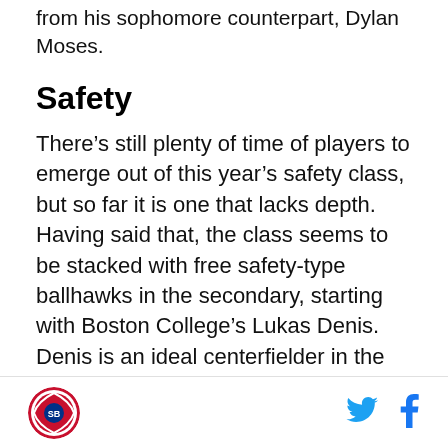from his sophomore counterpart, Dylan Moses.
Safety
There's still plenty of time of players to emerge out of this year's safety class, but so far it is one that lacks depth. Having said that, the class seems to be stacked with free safety-type ballhawks in the secondary, starting with Boston College's Lukas Denis. Denis is an ideal centerfielder in the mold of Earl Thomas or Jairus Byrd, coming down with seven interceptions in 2017. Miami's Jaquan Johnson also seems to have a knack for turnovers, with four interceptions to go along with three forced fumbles last year. Up in Washington, the Huskies have JoJo McIntosh, who at 6'1" 205 pounds loves to come downhill against the run and punish
[Figure (logo): Circular sports network logo with red and blue design]
[Figure (logo): Twitter bird icon in blue]
[Figure (logo): Facebook f icon in blue]